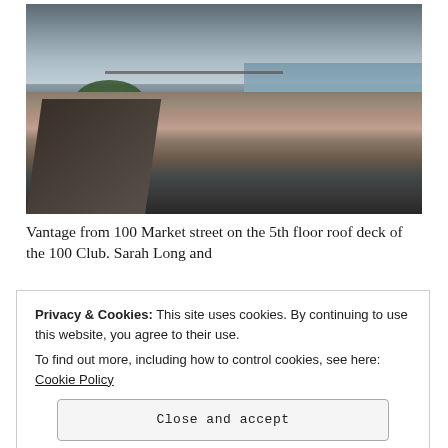[Figure (photo): Aerial/elevated view of Portsmouth NH street (Market Street) with brick buildings, a road with cars, green trees, a river, and a bridge in the background under overcast skies. Taken from the 5th floor roof deck of the 100 Club at 100 Market Street.]
Vantage from 100 Market street on the 5th floor roof deck of the 100 Club. Sarah Long and
Privacy & Cookies: This site uses cookies. By continuing to use this website, you agree to their use.
To find out more, including how to control cookies, see here: Cookie Policy
Close and accept
Posted in New Hampshire, Portsmouth